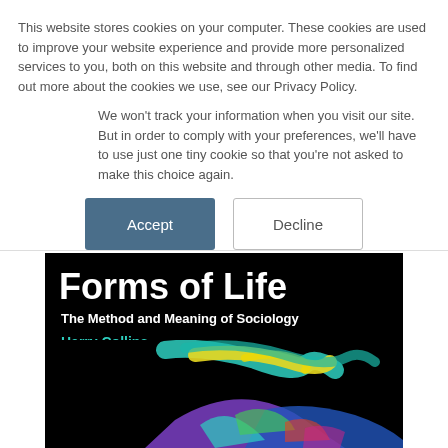This website stores cookies on your computer. These cookies are used to improve your website experience and provide more personalized services to you, both on this website and through other media. To find out more about the cookies we use, see our Privacy Policy.
We won't track your information when you visit our site. But in order to comply with your preferences, we'll have to use just one tiny cookie so that you're not asked to make this choice again.
Accept | Decline
[Figure (illustration): Book cover for 'Forms of Life: The Method and Meaning of Sociology' by Harry Collins. Black background with large white bold title text, subtitle in white, author name in teal/cyan. Lower portion shows colorful abstract brushstroke illustration with rainbow colors on black background.]